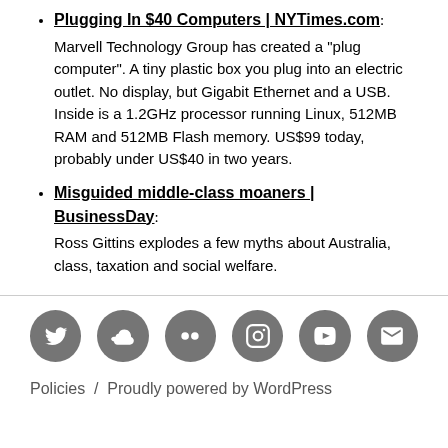Plugging In $40 Computers | NYTimes.com: Marvell Technology Group has created a "plug computer". A tiny plastic box you plug into an electric outlet. No display, but Gigabit Ethernet and a USB. Inside is a 1.2GHz processor running Linux, 512MB RAM and 512MB Flash memory. US$99 today, probably under US$40 in two years.
Misguided middle-class moaners | BusinessDay: Ross Gittins explodes a few myths about Australia, class, taxation and social welfare.
[Figure (other): Row of six circular grey social media icon buttons: Twitter, SoundCloud, Flickr, Instagram, YouTube, Email]
Policies  /  Proudly powered by WordPress